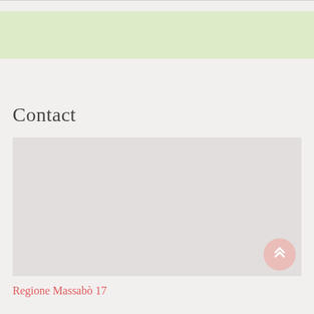[Figure (other): Light green decorative banner/band at top of page]
Contact
[Figure (map): Map placeholder area showing a light grey embedded map]
Regione Massabò 17